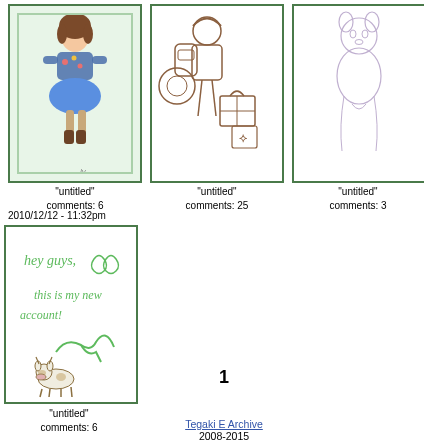[Figure (illustration): Drawing of a girl in a blue dress and boots against a light green background, framed with dark border]
"untitled"
comments: 6
[Figure (illustration): Line drawing of a person with a backpack and gift boxes]
"untitled"
comments: 25
[Figure (illustration): Light pencil sketch of an animal figure]
"untitled"
comments: 3
2010/12/12 - 11:32pm
[Figure (illustration): Handwritten note in green ink saying 'hey guys, this is my new account!' with a signature and a small cow drawing]
"untitled"
comments: 6
1
Tegaki E Archive
2008-2015